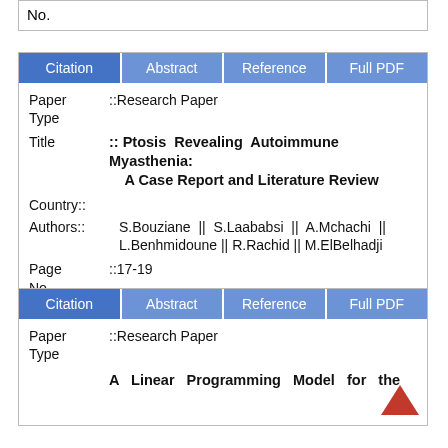| No. |
| Citation | Abstract | Reference | Full PDF |
| --- | --- | --- | --- |
| Paper Type | ::Research Paper |
| Title | ::Ptosis Revealing Autoimmune Myasthenia: A Case Report and Literature Review |
| Country:: |  |
| Authors:: | S.Bouziane || S.Laababsi || A.Mchachi || L.Benhmidoune || R.Rachid || M.ElBelhadji |
| Page No. | ::17-19 |
| Citation | Abstract | Reference | Full PDF |
| --- | --- | --- | --- |
| Paper Type | ::Research Paper |
| Title | A Linear Programming Model for the |